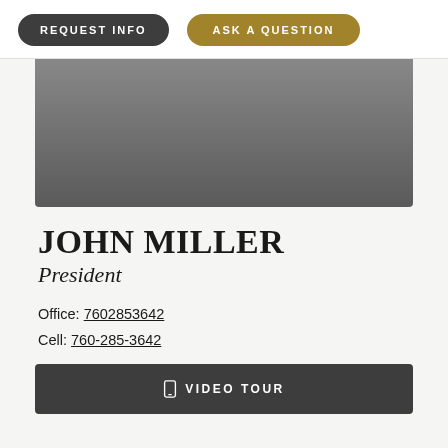REQUEST INFO
ASK A QUESTION
[Figure (photo): Gray gradient photo/image area representing an agent or property photo]
JOHN MILLER
President
Office: 7602853642
Cell: 760-285-3642
VIDEO TOUR